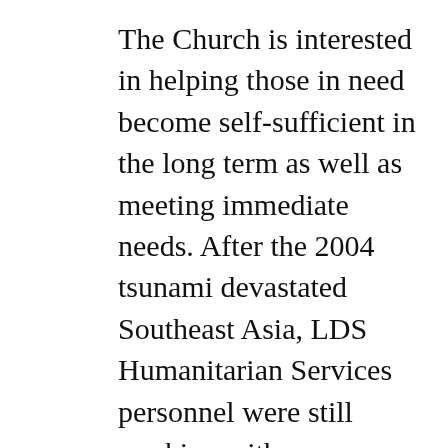The Church is interested in helping those in need become self-sufficient in the long term as well as meeting immediate needs. After the 2004 tsunami devastated Southeast Asia, LDS Humanitarian Services personnel were still working with community-based organizations to provide longer-term aid and development three years later.[i] In addition, the Church regularly donates wheelchairs, funds global immunization efforts, provides clean water service, trains doctors and volunteers in neonatal resuscitation programs, and offers training and treatment for preventing